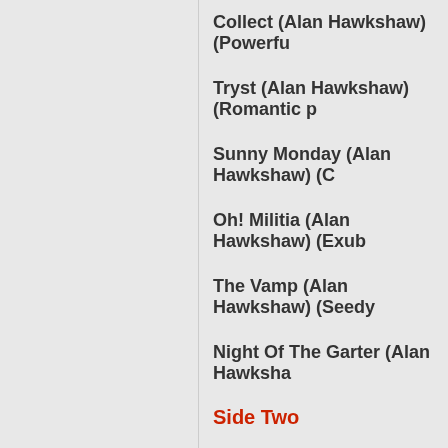Collect (Alan Hawkshaw) (Powerful...
Tryst (Alan Hawkshaw) (Romantic p...
Sunny Monday (Alan Hawkshaw) (C...
Oh! Militia (Alan Hawkshaw) (Exub...
The Vamp (Alan Hawkshaw) (Seedy...
Night Of The Garter (Alan Hawksha...
Side Two
Choctaw (Alan Parker) (Driving, furt...
Melody And Lace (Alan Parker) (Del...
Black Pearl (Alan Parker) (Mysteriou...
Blue Shadow (Alan Parker) (Mysteri...